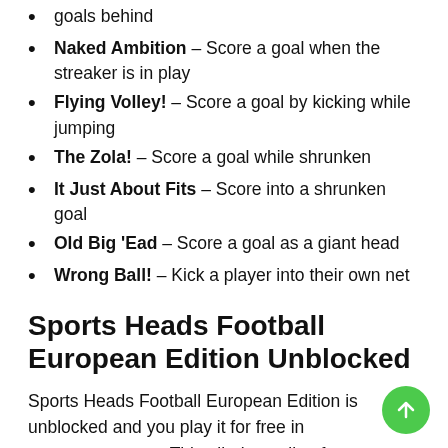goals behind
Naked Ambition – Score a goal when the streaker is in play
Flying Volley! – Score a goal by kicking while jumping
The Zola! – Score a goal while shrunken
It Just About Fits – Score into a shrunken goal
Old Big 'Ead – Score a goal as a giant head
Wrong Ball! – Kick a player into their own net
Sports Heads Football European Edition Unblocked
Sports Heads Football European Edition is unblocked and you play it for free in megasoccer.com. This alluring online free soccer game will keep you great company whenever you feel like taking a break from your daily chores.